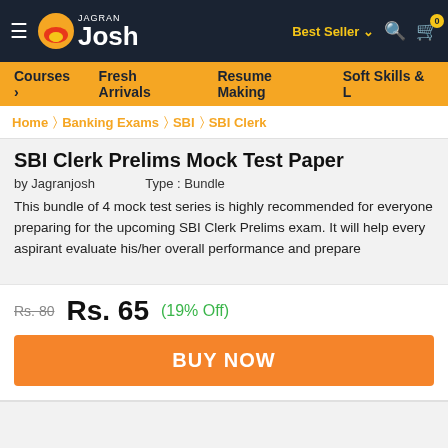Jagran Josh — Best Seller, Search, Cart
Courses > Fresh Arrivals   Resume Making   Soft Skills & L
Home > Banking Exams > SBI > SBI Clerk
SBI Clerk Prelims Mock Test Paper
by Jagranjosh   Type : Bundle
This bundle of 4 mock test series is highly recommended for everyone preparing for the upcoming SBI Clerk Prelims exam. It will help every aspirant evaluate his/her overall performance and prepare
Rs. 80   Rs. 65   (19% Off)
BUY NOW